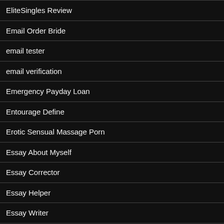EliteSingles Review
Email Order Bride
email tester
email verification
Emergency Payday Loan
Entourage Define
Erotic Sensual Massage Porn
Essay About Myself
Essay Corrector
Essay Helper
Essay Writer
Essay Writers